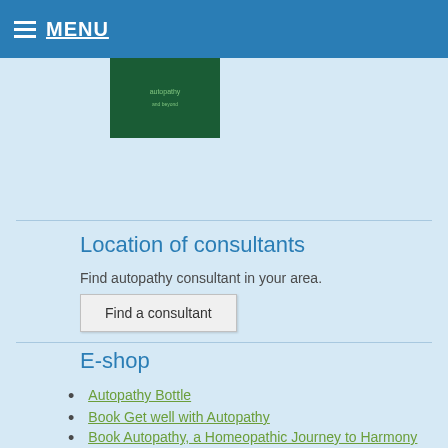MENU
[Figure (photo): Green book cover image partially visible]
Location of consultants
Find autopathy consultant in your area.
Find a consultant
E-shop
Autopathy Bottle
Book Get well with Autopathy
Book Autopathy, a Homeopathic Journey to Harmony